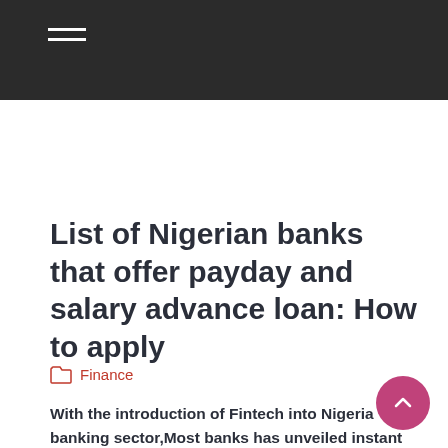List of Nigerian banks that offer payday and salary advance loan: How to apply
Finance
With the introduction of Fintech into Nigeria banking sector,Most banks has unveiled instant digital loan product which is targeted at salary